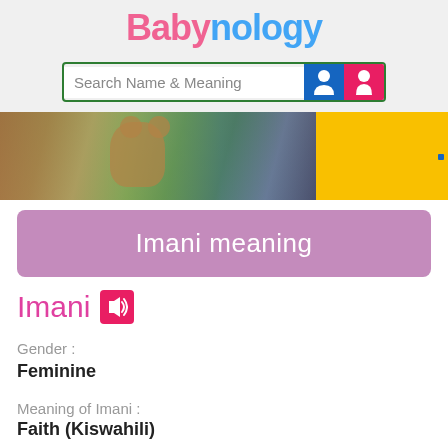Babynology
[Figure (screenshot): Search bar with 'Search Name & Meaning' placeholder and boy/girl icon buttons]
[Figure (photo): Banner photo showing children with toys and a yellow section]
Imani meaning
Imani
Gender :
Feminine
Meaning of Imani :
Faith (Kiswahili)